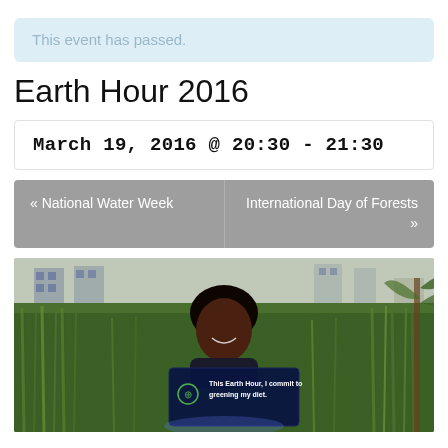This event has passed.
Earth Hour 2016
March 19, 2016 @ 20:30 - 21:30
« National Water Week
International Day of Forests »
[Figure (photo): A smiling woman holding a dark sign that reads 'This Earth Hour, I commit to greening my diet.' with a green fork/utensil icon, standing outdoors among tall green grass with a building in the background.]